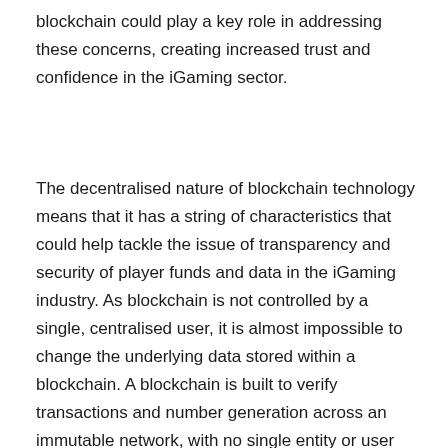blockchain could play a key role in addressing these concerns, creating increased trust and confidence in the iGaming sector.
The decentralised nature of blockchain technology means that it has a string of characteristics that could help tackle the issue of transparency and security of player funds and data in the iGaming industry. As blockchain is not controlled by a single, centralised user, it is almost impossible to change the underlying data stored within a blockchain. A blockchain is built to verify transactions and number generation across an immutable network, with no single entity or user able to gain an advantage at any stage.